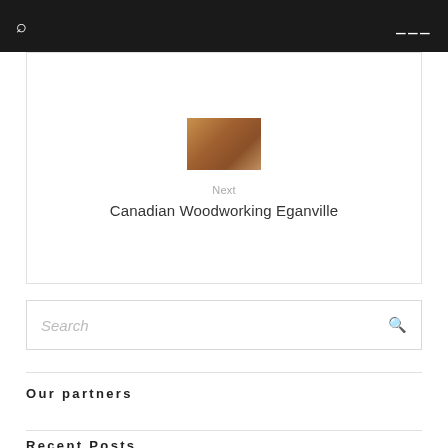🔍  ≡
[Figure (photo): Thumbnail image of woodworking tools on a wooden surface]
Next
Canadian Woodworking Eganville
Search
Our partners
Recent Posts